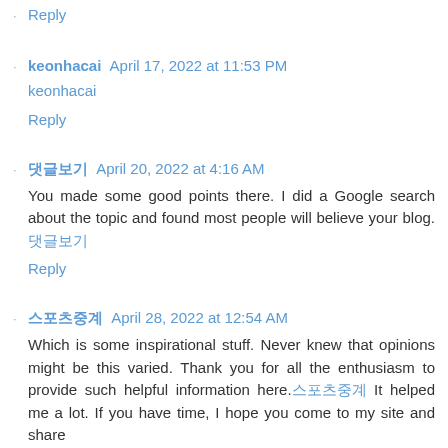Reply
keonhacai April 17, 2022 at 11:53 PM
keonhacai
Reply
댓글보기 April 20, 2022 at 4:16 AM
You made some good points there. I did a Google search about the topic and found most people will believe your blog. 댓글보기
Reply
스포츠중계 April 28, 2022 at 12:54 AM
Which is some inspirational stuff. Never knew that opinions might be this varied. Thank you for all the enthusiasm to provide such helpful information here.스포츠중계 It helped me a lot. If you have time, I hope you come to my site and share